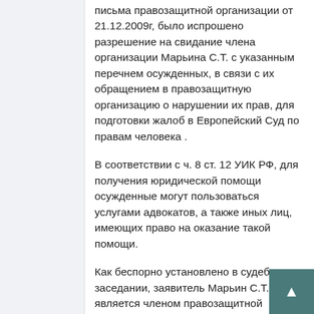письма правозащитной организации от 21.12.2009г, было испрошено разрешение на свидание члена организации Марьина С.Т. с указанным перечнем осужденных, в связи с их обращением в правозащитную организацию о нарушении их прав, для подготовки жалоб в Европейский Суд по правам человека .
В соответствии с ч. 8 ст. 12 УИК РФ, для получения юридической помощи осужденные могут пользоваться услугами адвокатов, а также иных лиц, имеющих право на оказание такой помощи.
Как беспорно установлено в судебном заседании, заявитель Марьин С.Т. является членом правозащитной организации "Мордовский республиканский правозащитный центр", в силу Устава обязан оказ содействие организации в достиж ее целей и задач, в том числе по